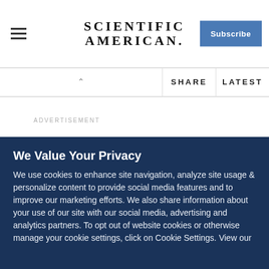SCIENTIFIC AMERICAN
SHARE   LATEST
ADVERTISEMENT
Arthur C. Clarke, as happens shockingly often, had a prescient insight to this problem. In his 1948 story The Sentinel, Clarke
We Value Your Privacy
We use cookies to enhance site navigation, analyze site usage & personalize content to provide social media features and to improve our marketing efforts. We also share information about your use of our site with our social media, advertising and analytics partners. To opt out of website cookies or otherwise manage your cookie settings, click on Cookie Settings. View our